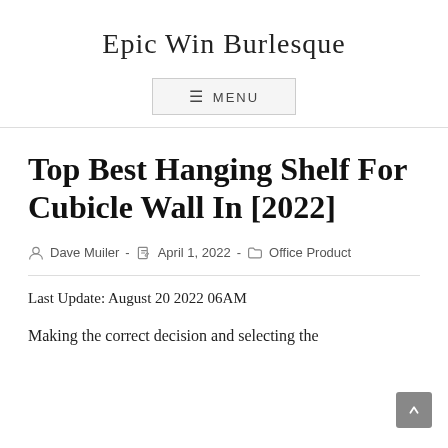Epic Win Burlesque
Top Best Hanging Shelf For Cubicle Wall In [2022]
Dave Muiler · April 1, 2022 · Office Product
Last Update: August 20 2022 06AM
Making the correct decision and selecting the